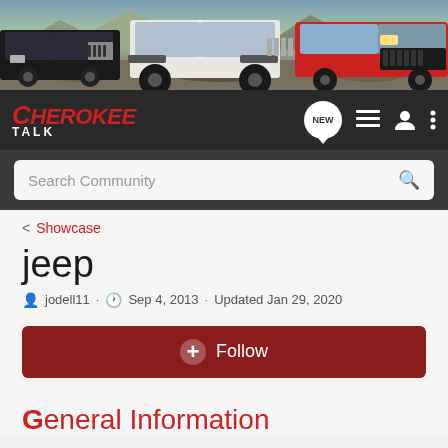[Figure (photo): Banner photo showing three Jeep Cherokee vehicles on rocky terrain, including a black XJ, white lifted XJ, and red modern Cherokee]
[Figure (logo): Cherokee Talk forum logo with red italic text on dark background navigation bar]
Search Community
< Showcase
jeep
jodell11 · Sep 4, 2013 · Updated Jan 29, 2020
+ Follow
General Information